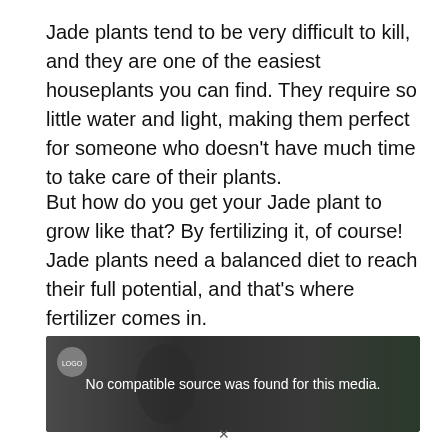Jade plants tend to be very difficult to kill, and they are one of the easiest houseplants you can find. They require so little water and light, making them perfect for someone who doesn't have much time to take care of their plants.
But how do you get your Jade plant to grow like that? By fertilizing it, of course! Jade plants need a balanced diet to reach their full potential, and that's where fertilizer comes in.
[Figure (screenshot): Dark video player screenshot showing a blurred jade plant image with text 'No compatible source was found for this media.' and a small circular logo in the top-left corner.]